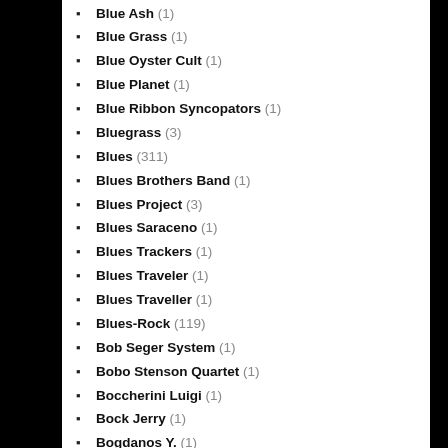Blue Ash (1)
Blue Grass (1)
Blue Oyster Cult (1)
Blue Planet (1)
Blue Ribbon Syncopators (1)
Bluegrass (3)
Blues (311)
Blues Brothers Band (1)
Blues Project (3)
Blues Saraceno (1)
Blues Trackers (1)
Blues Traveler (1)
Blues Traveller (1)
Blues-Rock (119)
Bob Seger System (1)
Bobo Stenson Quartet (1)
Boccherini Luigi (1)
Bock Jerry (1)
Bogdanos Y. (1)
Boguslaw Lewandowski & Andreas Weimer (1)
Bohren Spencer (1)
Bomar SCott (1)